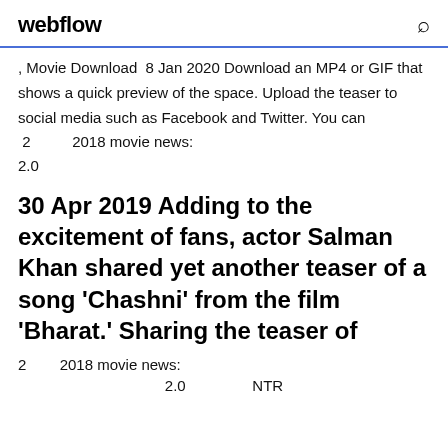webflow
, Movie Download  8 Jan 2020 Download an MP4 or GIF that shows a quick preview of the space. Upload the teaser to social media such as Facebook and Twitter. You can  2          2018 movie news:
2.0
30 Apr 2019 Adding to the excitement of fans, actor Salman Khan shared yet another teaser of a song 'Chashni' from the film 'Bharat.' Sharing the teaser of
2         2018 movie news:
2.0                    NTR